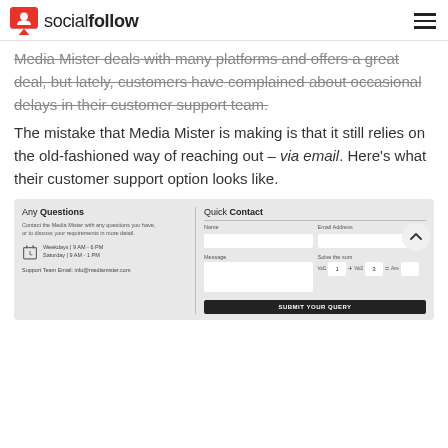socialfollow
Media Mister deals with many platforms and offers a great deal, but lately, customers have complained about occasional delays in their customer support team.
The mistake that Media Mister is making is that it still relies on the old-fashioned way of reaching out – via email. Here's what their customer support option looks like.
[Figure (screenshot): Screenshot of a contact form with 'Any Questions' on the left and 'Quick Contact' form on the right with fields for Name, Email Address, Message, Solve the Sum, and a Submit Your Query button.]